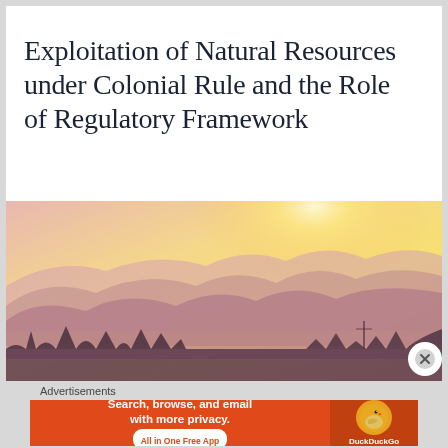Exploitation of Natural Resources under Colonial Rule and the Role of Regulatory Framework
[Figure (photo): Scenic landscape photo of layered mountain silhouettes in pink and purple hues against a warm golden-yellow glowing sky at sunset or sunrise, with dark treeline silhouettes in the foreground.]
Advertisements
[Figure (screenshot): DuckDuckGo advertisement banner with orange background. Left side reads: 'Search, browse, and email with more privacy. All in One Free App'. Right side shows the DuckDuckGo duck logo on a darker orange background with 'DuckDuckGo' label.]